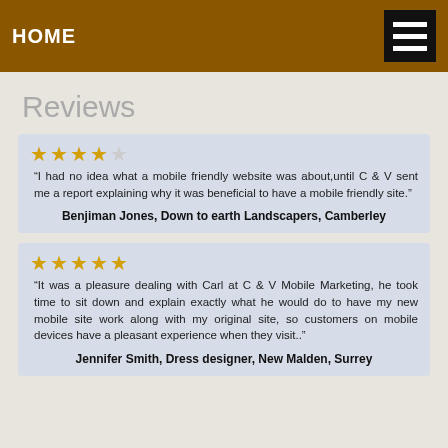HOME
Reviews
“I had no idea what a mobile friendly website was about,until C & V sent me a report explaining why it was beneficial to have a mobile friendly site.”
Benjiman Jones, Down to earth Landscapers, Camberley
“It was a pleasure dealing with Carl at C & V Mobile Marketing, he took time to sit down and explain exactly what he would do to have my new mobile site work along with my original site, so customers on mobile devices have a pleasant experience when they visit..”
Jennifer Smith, Dress designer, New Malden, Surrey